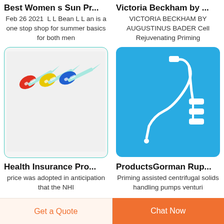Best Women s Sun Pr...
Victoria Beckham by ...
Feb 26 2021  L L Bean L L an is a one stop shop for summer basics for both men
VICTORIA BECKHAM BY AUGUSTINUS BADER Cell Rejuvenating Priming
[Figure (photo): Three butterfly needles/IV infusion sets with red, yellow, and blue colored wings on a white background]
[Figure (photo): Medical IV drip infusion set with tubing and connectors on a blue background]
Health Insurance Pro...
ProductsGorman Rup...
price was adopted in anticipation that the NHI
Priming assisted centrifugal solids handling pumps venturi
Get a Quote
Chat Now